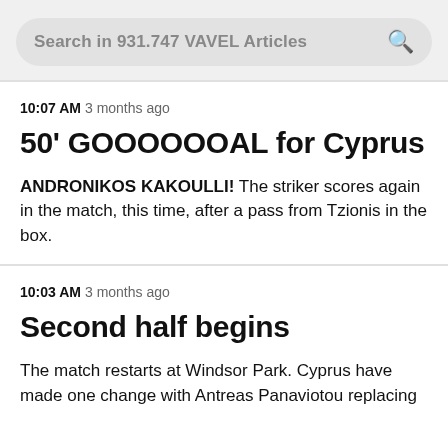Search in 931.747 VAVEL Articles
10:07 AM 3 months ago
50' GOOOOOOAL for Cyprus
ANDRONIKOS KAKOULLI! The striker scores again in the match, this time, after a pass from Tzionis in the box.
10:03 AM 3 months ago
Second half begins
The match restarts at Windsor Park. Cyprus have made one change with Antreas Panaviotou replacing